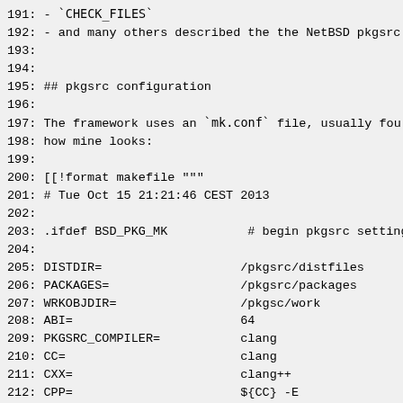191: - `CHECK_FILES`
192: - and many others described the the NetBSD pkgsrc
193:
194:
195: ## pkgsrc configuration
196:
197: The framework uses an `mk.conf` file, usually fou
198: how mine looks:
199:
200: [[!format makefile """
201: # Tue Oct 15 21:21:46 CEST 2013
202:
203: .ifdef BSD_PKG_MK           # begin pkgsrc settings
204:
205: DISTDIR=                   /pkgsrc/distfiles
206: PACKAGES=                  /pkgsrc/packages
207: WRKOBJDIR=                 /pkgsc/work
208: ABI=                       64
209: PKGSRC_COMPILER=           clang
210: CC=                        clang
211: CXX=                       clang++
212: CPP=                       ${CC} -E
213:
214: PKG_DBDIR=                 /var/db/pkg
215: LOCALBASE=                 /usr/pkg
216: VARBASE=                   /var
217: PKG_TOOLS_BIN=             /usr/pkg/sbin
218: PKGINFODIR=                info
219: PKGMANDIR=                 man
220: BINPKG_SITES=              http://pkgsrc.saveosx.c